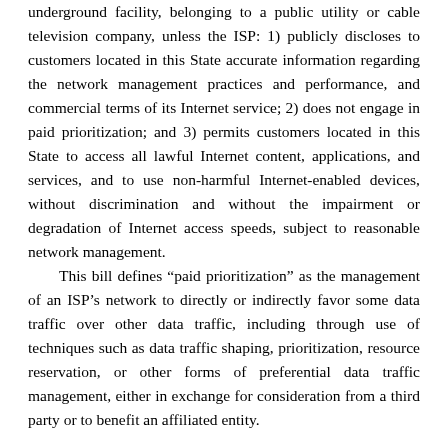underground facility, belonging to a public utility or cable television company, unless the ISP: 1) publicly discloses to customers located in this State accurate information regarding the network management practices and performance, and commercial terms of its Internet service; 2) does not engage in paid prioritization; and 3) permits customers located in this State to access all lawful Internet content, applications, and services, and to use non-harmful Internet-enabled devices, without discrimination and without the impairment or degradation of Internet access speeds, subject to reasonable network management.
This bill defines “paid prioritization” as the management of an ISP’s network to directly or indirectly favor some data traffic over other data traffic, including through use of techniques such as data traffic shaping, prioritization, resource reservation, or other forms of preferential data traffic management, either in exchange for consideration from a third party or to benefit an affiliated entity.